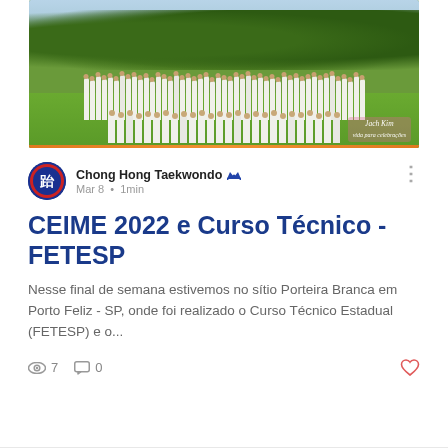[Figure (photo): Group photo of taekwondo practitioners in white uniforms (dobok) posing outdoors on a green lawn with trees in background. Watermark reads 'Jach Kim' in bottom right corner.]
Chong Hong Taekwondo 👑
Mar 8 • 1min
CEIME 2022 e Curso Técnico - FETESP
Nesse final de semana estivemos no sítio Porteira Branca em Porto Feliz - SP, onde foi realizado o Curso Técnico Estadual (FETESP) e o...
👁 7   💬 0   ♡